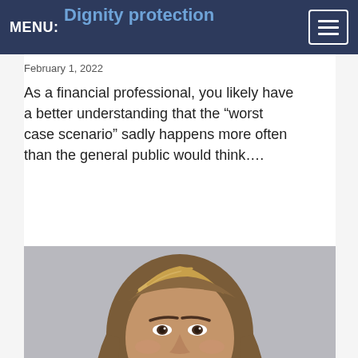Dignity protection
MENU:
February 1, 2022
As a financial professional, you likely have a better understanding that the “worst case scenario” sadly happens more often than the general public would think....
[Figure (photo): Professional headshot of a woman with medium-length blonde-brown hair, smiling, against a light grey background.]